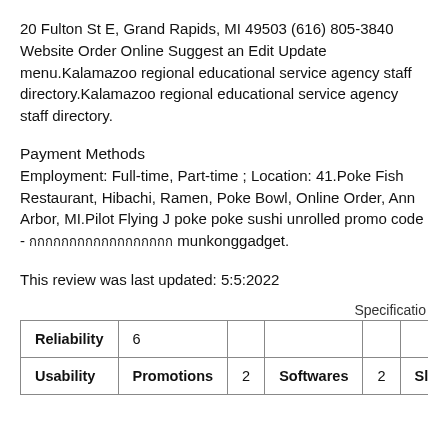20 Fulton St E, Grand Rapids, MI 49503 (616) 805-3840 Website Order Online Suggest an Edit Update menu.Kalamazoo regional educational service agency staff directory.Kalamazoo regional educational service agency staff directory.
Payment Methods
Employment: Full-time, Part-time ; Location: 41.Poke Fish Restaurant, Hibachi, Ramen, Poke Bowl, Online Order, Ann Arbor, MI.Pilot Flying J poke poke sushi unrolled promo code - [Thai characters] munkonggadget.
This review was last updated: 5:5:2022
Specificatio
| Reliability | 6 |  |  |  |  |
| Usability | Promotions | 2 | Softwares | 2 | Slots |